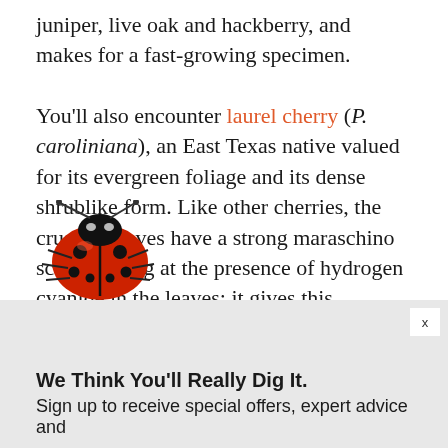juniper, live oak and hackberry, and makes for a fast-growing specimen.
You'll also encounter laurel cherry (P. caroliniana), an East Texas native valued for its evergreen foliage and its dense shrublike form. Like other cherries, the crushed leaves have a strong maraschino scent, hinting at the presence of hydrogen cyanide in the leaves; it gives this ornamental an extra measure of deer resistance. It performs better in the deeper soils of central and eastern Bexar County, so it thrives a... Olmos Basin more than in Helotes
[Figure (photo): A ladybug (red with black spots) overlaid on the bottom portion of the article text and the top of the advertisement overlay banner.]
We Think You'll Really Dig It.
Sign up to receive special offers, expert advice and